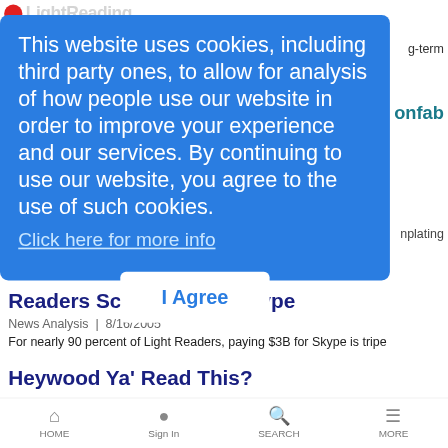[Figure (screenshot): Light Reading website logo partially visible at top left with red circle icon and grey text]
g-term
onfab
This website uses cookies, including third party ones, to allow for analysis of how people use our website in order to improve your experience and our services. By continuing to use our website, you agree to the use of such cookies.
Click here for more info
I Agree
nplating
Readers Scoff at Skype Hype
News Analysis | 8/16/2005
For nearly 90 percent of Light Readers, paying $3B for Skype is tripe
Heywood Ya' Read This?
HOME   Sign In   SEARCH   MORE